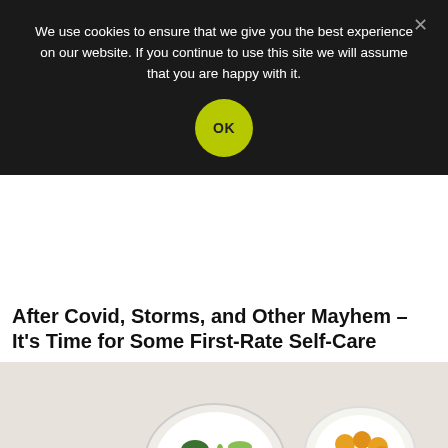We use cookies to ensure that we give you the best experience on our website. If you continue to use this site we will assume that you are happy with it.
After Covid, Storms, and Other Mayhem – It's Time for Some First-Rate Self-Care
[Figure (photo): Three bowls of healthy salads containing vegetables including cherry tomatoes, cucumber slices, radishes, chickpeas, boiled eggs, avocado, and greens, arranged on a light surface.]